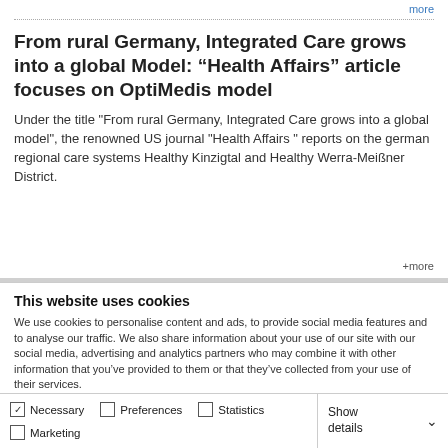more
From rural Germany, Integrated Care grows into a global Model: “Health Affairs” article focuses on OptiMedis model
Under the title "From rural Germany, Integrated Care grows into a global model", the renowned US journal "Health Affairs" reports on the german regional care systems Healthy Kinzigtal and Healthy Werra-Meißner District.
more
This website uses cookies
We use cookies to personalise content and ads, to provide social media features and to analyse our traffic. We also share information about your use of our site with our social media, advertising and analytics partners who may combine it with other information that you’ve provided to them or that they’ve collected from your use of their services.
OK
Necessary  Preferences  Statistics  Marketing  Show details